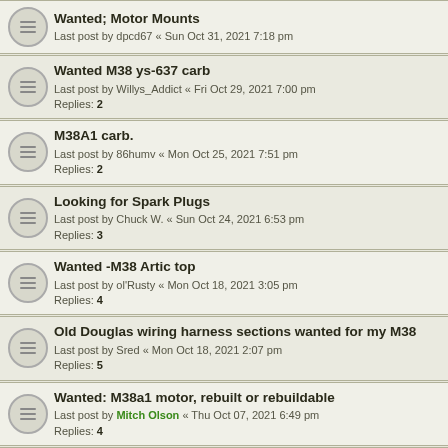Wanted; Motor Mounts
Last post by dpcd67 « Sun Oct 31, 2021 7:18 pm
Wanted M38 ys-637 carb
Last post by Willys_Addict « Fri Oct 29, 2021 7:00 pm
Replies: 2
M38A1 carb.
Last post by 86humv « Mon Oct 25, 2021 7:51 pm
Replies: 2
Looking for Spark Plugs
Last post by Chuck W. « Sun Oct 24, 2021 6:53 pm
Replies: 3
Wanted -M38 Artic top
Last post by ol'Rusty « Mon Oct 18, 2021 3:05 pm
Replies: 4
Old Douglas wiring harness sections wanted for my M38
Last post by Sred « Mon Oct 18, 2021 2:07 pm
Replies: 5
Wanted: M38a1 motor, rebuilt or rebuildable
Last post by Mitch Olson « Thu Oct 07, 2021 6:49 pm
Replies: 4
WTB 2 or 3 16x4.5 jeep or M100 trailer wheels
Last post by chucks_toy « Fri Oct 01, 2021 4:57 am
Replies: 3
WTB M38A1 Passenger Seat Canvas
Last post by JMZ421 « Thu Sep 30, 2021 5:02 pm
Replies: 3
Fuel Sending Unit
Last post by Travelfix « Mon Sep 20, 2021 9:09 am
Replies: 4
FS: 1951 M38 EXCELLENT condition (CO)